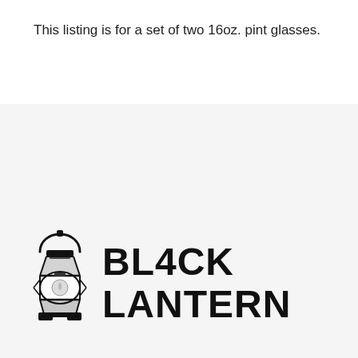This listing is for a set of two 16oz. pint glasses.
[Figure (logo): Black Lantern brand logo with an illustrated oil lantern on the left and the text 'BLACK LANTERN' in bold uppercase letters on the right]
QUICK LINKS
HOME
WHOLESALE